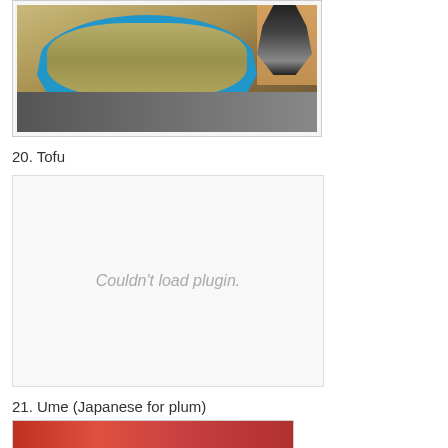[Figure (photo): Photo of noodles in a blue bowl/tray with a cat nearby on a kitchen counter]
20. Tofu
[Figure (other): Couldn't load plugin. — placeholder area for an embedded media plugin]
21. Ume (Japanese for plum)
[Figure (photo): Partially visible photo at bottom, appears to show a red/pink food item]